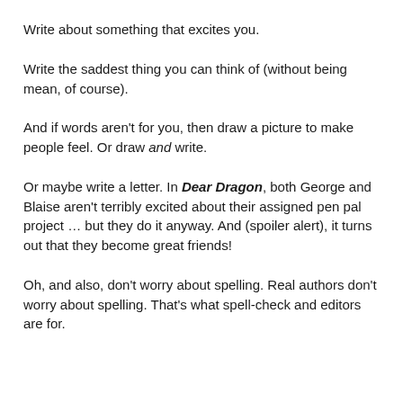Write about something that excites you.
Write the saddest thing you can think of (without being mean, of course).
And if words aren't for you, then draw a picture to make people feel. Or draw and write.
Or maybe write a letter. In Dear Dragon, both George and Blaise aren't terribly excited about their assigned pen pal project … but they do it anyway. And (spoiler alert), it turns out that they become great friends!
Oh, and also, don't worry about spelling. Real authors don't worry about spelling. That's what spell-check and editors are for.